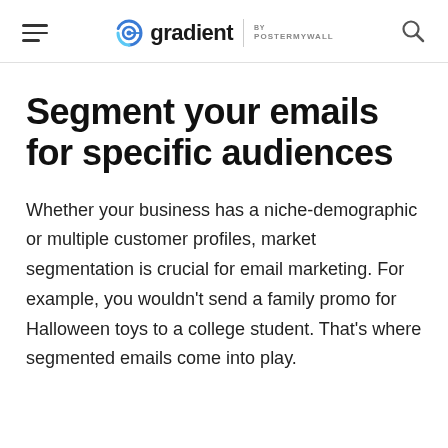gradient BY POSTERMYWALL
Segment your emails for specific audiences
Whether your business has a niche-demographic or multiple customer profiles, market segmentation is crucial for email marketing. For example, you wouldn’t send a family promo for Halloween toys to a college student. That’s where segmented emails come into play.